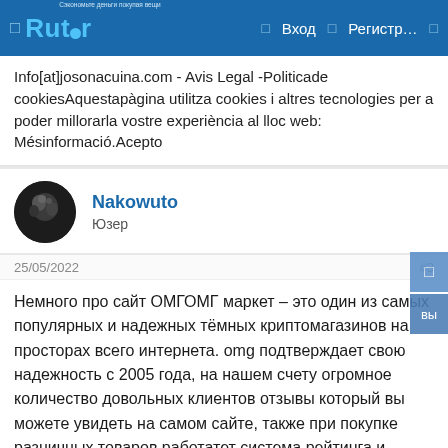Rutor — Вход — Регистр…
Info[at]josonacuina.com - Avis Legal -Politicade cookiesAquestapàgina utilitza cookies i altres tecnologies per a poder millorarla vostre experiència al lloc web: Mésinformació.Acepto
Nakowuto
Юзер
25/05/2022    #3
Немного про сайт ОМГОМГ маркет – это один из самых популярных и надежных тёмных криптомагазинов на просторах всего интернета. omg подтверждает свою надежность с 2005 года, на нашем счету огромное количество довольных клиентов отзывы который вы можете увидеть на самом сайте, также при покупке разничных товаров работатет система рейтинга и отзывов, поэтому вы всегда сможете выбрать нужную вам витрину и прочесть об качестве товара и закладки от таких же пользователей как и